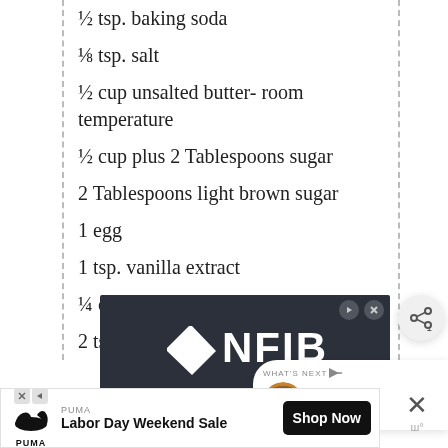½ tsp. baking soda
⅛ tsp. salt
½ cup unsalted butter- room temperature
½ cup plus 2 Tablespoons sugar
2 Tablespoons light brown sugar
1 egg
1 tsp. vanilla extract
¼ cup sugar
2 tsp. cinnamon
[Figure (screenshot): NFIB advertisement banner with dark background showing NFIB logo, text 'We Blocked OSHA's Vaccine Mandate' and 'OUR SUPREME COURT CASE' in green]
[Figure (screenshot): PUMA Labor Day Weekend Sale advertisement with Shop Now button]